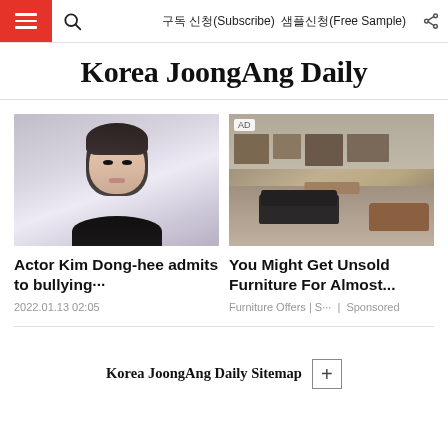Korea JoongAng Daily — 구독 신청(Subscribe)  샘플신청(Free Sample)
Korea JoongAng Daily
[Figure (photo): Portrait photo of a young Korean male actor, Kim Dong-hee, with dark hair, against a light background]
Actor Kim Dong-hee admits to bullying…
2022.01.13 02:05
[Figure (photo): AD — Warehouse interior filled with various unsold wooden furniture pieces including tables, chairs, sofas and cabinets]
You Might Get Unsold Furniture For Almost...
Furniture Offers | S…  |  Sponsored
Korea JoongAng Daily Sitemap +